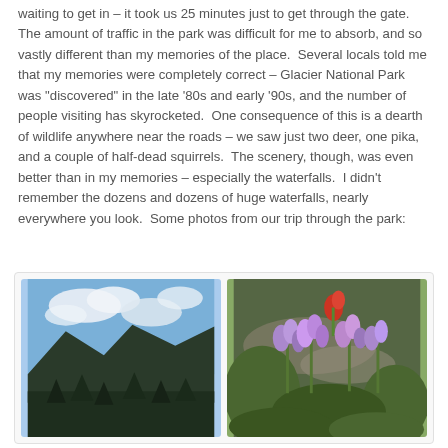waiting to get in – it took us 25 minutes just to get through the gate.  The amount of traffic in the park was difficult for me to absorb, and so vastly different than my memories of the place.  Several locals told me that my memories were completely correct – Glacier National Park was "discovered" in the late '80s and early '90s, and the number of people visiting has skyrocketed.  One consequence of this is a dearth of wildlife anywhere near the roads – we saw just two deer, one pika, and a couple of half-dead squirrels.  The scenery, though, was even better than in my memories – especially the waterfalls.  I didn't remember the dozens and dozens of huge waterfalls, nearly everywhere you look.  Some photos from our trip through the park:
[Figure (photo): Left photo: mountain landscape with blue sky, white clouds, dark forested mountains in background]
[Figure (photo): Right photo: close-up of wildflowers – purple/lavender flowers with a red flower in background, green vegetation]